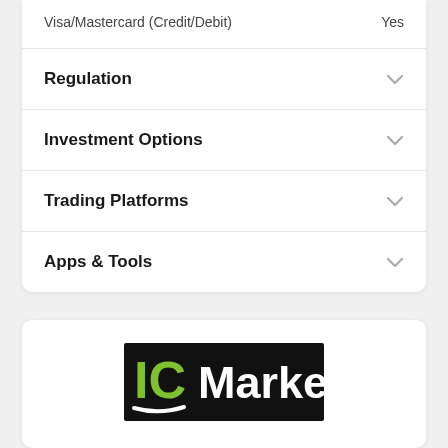|  |  |
| --- | --- |
| Visa/Mastercard (Credit/Debit) | Yes |
Regulation
Investment Options
Trading Platforms
Apps & Tools
[Figure (logo): IC Markets logo — white text 'IC Markets' on black background with green 'IC' letters and a white underline swoosh graphic]